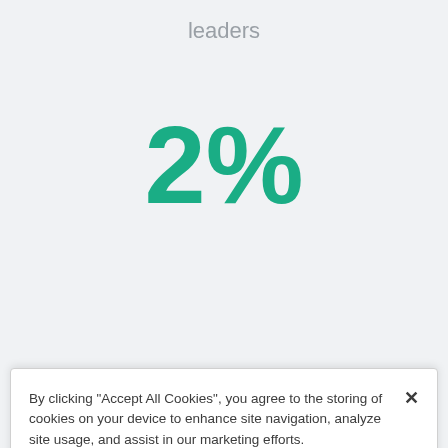leaders
2%
By clicking “Accept All Cookies”, you agree to the storing of cookies on your device to enhance site navigation, analyze site usage, and assist in our marketing efforts. Cookie Notice
Cookies Settings
Reject All
Accept All Cookies